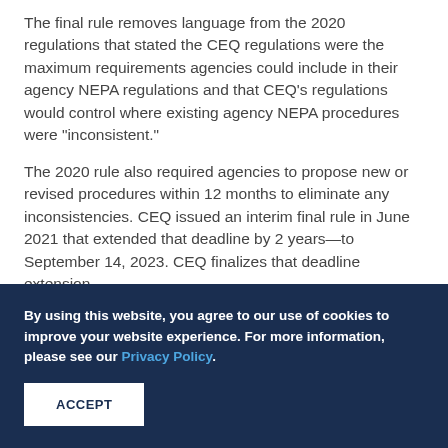The final rule removes language from the 2020 regulations that stated the CEQ regulations were the maximum requirements agencies could include in their agency NEPA regulations and that CEQ's regulations would control where existing agency NEPA procedures were "inconsistent."
The 2020 rule also required agencies to propose new or revised procedures within 12 months to eliminate any inconsistencies. CEQ issued an interim final rule in June 2021 that extended that deadline by 2 years—to September 14, 2023. CEQ finalizes that deadline extension
By using this website, you agree to our use of cookies to improve your website experience. For more information, please see our Privacy Policy.
ACCEPT